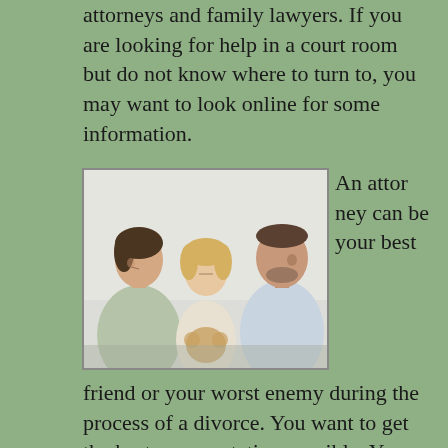attorneys and family lawyers. If you are looking for help in a court room but do not know where to turn to, you may want to look online for some information.
[Figure (photo): A family photo showing a woman on the left looking down sadly, a young child in the middle hunched over holding a teddy bear, and a man on the right looking away, depicting a family in the process of divorce.]
An attorney can be your best friend or your worst enemy during the process of a divorce. You want to get the best representation possible. You may want to consult with friends or family members who have had experience with attorneys so that